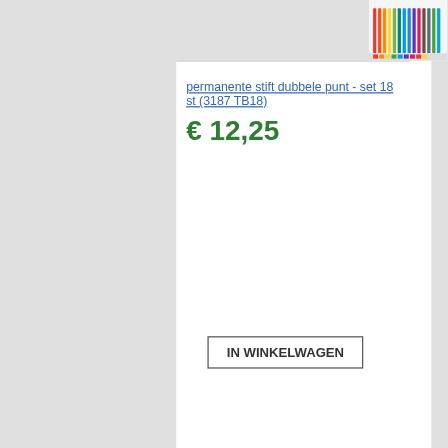[Figure (photo): Colorful markers/pens product image, top right corner]
permanente stift dubbele punt - set 18 st (3187 TB18)
€ 12,25
IN WINKELWAGEN
[Figure (photo): Blue product (Mars Lumograph graphite pencil set) image, right side]
Mars Lumograph pure grahite potl.- set 6 st DJ (100g M6)
Normale prijs: € 15,70
€ 14,15